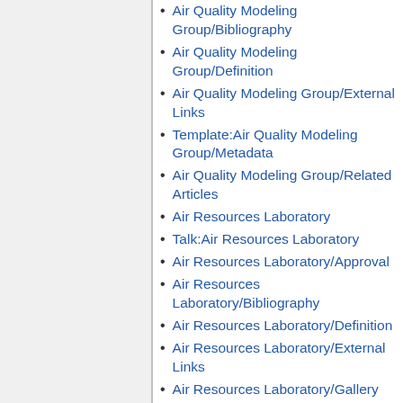Air Quality Modeling Group/Bibliography
Air Quality Modeling Group/Definition
Air Quality Modeling Group/External Links
Template:Air Quality Modeling Group/Metadata
Air Quality Modeling Group/Related Articles
Air Resources Laboratory
Talk:Air Resources Laboratory
Air Resources Laboratory/Approval
Air Resources Laboratory/Bibliography
Air Resources Laboratory/Definition
Air Resources Laboratory/External Links
Air Resources Laboratory/Gallery
Template:Air Resources